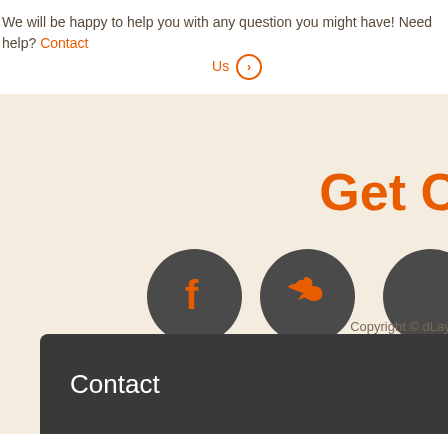We will be happy to help you with any question you might have! Need help? Contact Us >
Get C
[Figure (illustration): Three dark grey circular social media icon buttons: Facebook (f), Twitter (bird), and a third partially visible circle on the right edge]
Copyright © dLayo
Home   Licensing   Contact Us   About
Contact